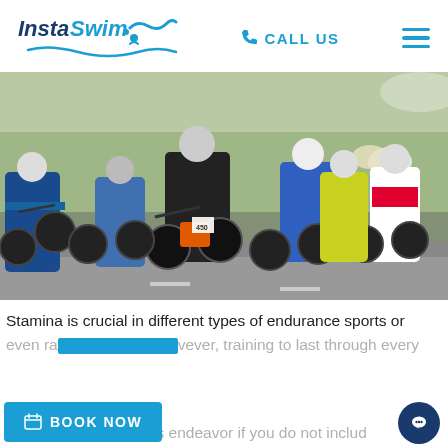[Figure (logo): InstaSwim logo with wave graphic and swimmer icon]
CALL US
[Figure (photo): Group of cyclists in a race, close-up of riders on road bikes]
Stamina is crucial in different types of endurance sports or even race game. However, training to last through every game can be a fruitless endeavor if you do not includ
[Figure (other): BOOK NOW button - blue CTA button]
[Figure (other): Chat bubble icon - dark blue circle with chat icon]